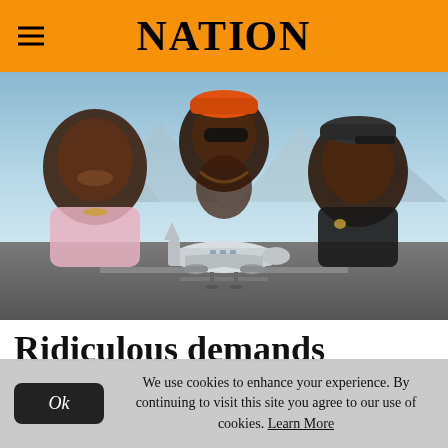NATION
[Figure (photo): Three male musicians posed in front of a private jet on a runway with mountains in the background. Left figure is smiling and wearing a light pink outfit with jewelry. Center figure is shirtless with tattoos, sunglasses, and an orange cap. Right figure wears a dark shirt and cap.]
Ridiculous demands
We use cookies to enhance your experience. By continuing to visit this site you agree to our use of cookies. Learn More